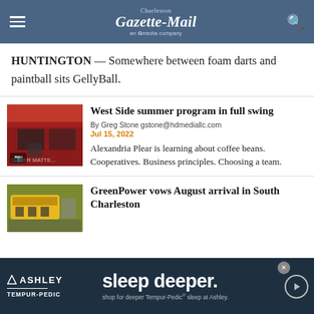Charleston Gazette-Mail — an GMedia company
HUNTINGTON — Somewhere between foam darts and paintball sits GellyBall.
West Side summer program in full swing
By Greg Stone gstone@hdmediallc.com
Jul 15, 2022
Alexandria Plear is learning about coffee beans. Cooperatives. Business principles. Choosing a team.
GreenPower vows August arrival in South Charleston
[Figure (photo): Advertisement for Ashley TEMPUR-PEDIC: sleep deeper. shop for deeper Tempur-Pedic sleep at Ashley.]